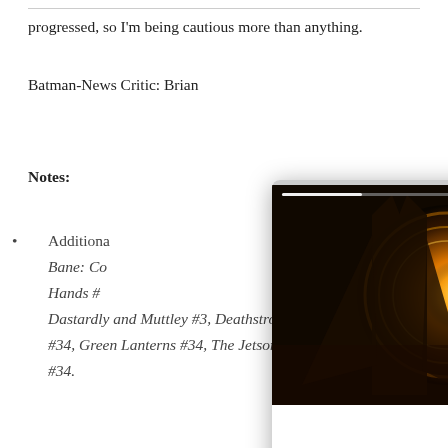progressed, so I'm being cautious more than anything.
Batman-News Critic: Brian
Notes:
[Figure (screenshot): Video player popup overlay showing a dark cinematic scene of Batman silhouetted against a bright glowing circular light (likely from The Batman movie), with a top progress bar, three-dot menu, close (X) button, and an orange circular arrow/next button in the bottom right.]
Additional content includes: Bane: Conquest #7, Batman: Gotham by Gaslight (HC), Batman: White Knight #1, Batwoman #8, Cave Carson Has a Cybernetic Eye #12, Dark Nights: Metal #2, Dastardly and Muttley #3, Deathstroke #25, Green Arrow #34, Green Lanterns #34, The Jetsons #1, and Superman #34.